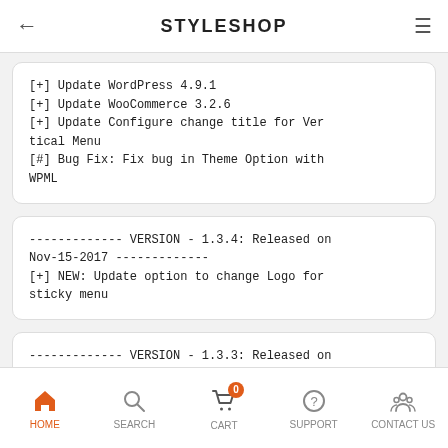STYLESHOP
[+] Update WordPress 4.9.1
[+] Update WooCommerce 3.2.6
[+] Update Configure change title for Vertical Menu
[#] Bug Fix: Fix bug in Theme Option with WPML
------------- VERSION - 1.3.4: Released on Nov-15-2017 -------------
[+] NEW: Update option to change Logo for sticky menu
------------- VERSION - 1.3.3: Released on Nov-02-2017 -------------
[+] NEW: Compatible with Multivendor Plugins including Dokan, WC Vendors and WC MarketPlace
HOME   SEARCH   CART   SUPPORT   CONTACT US